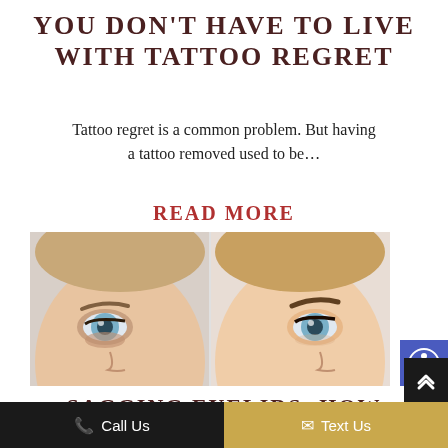YOU DON'T HAVE TO LIVE WITH TATTOO REGRET
Tattoo regret is a common problem. But having a tattoo removed used to be…
READ MORE
[Figure (photo): Before and after split comparison photo of a woman's face showing eye area — left side shows aged/uneven appearance, right side shows smoother, enhanced appearance]
SAGGING EYELIDS: HOW
Call Us   Text Us